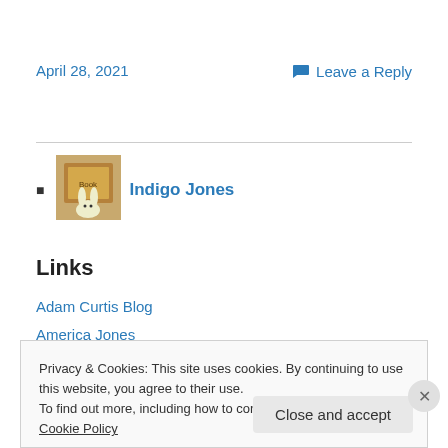April 28, 2021
Leave a Reply
Indigo Jones
Links
Adam Curtis Blog
America Jones
Privacy & Cookies: This site uses cookies. By continuing to use this website, you agree to their use. To find out more, including how to control cookies, see here: Cookie Policy